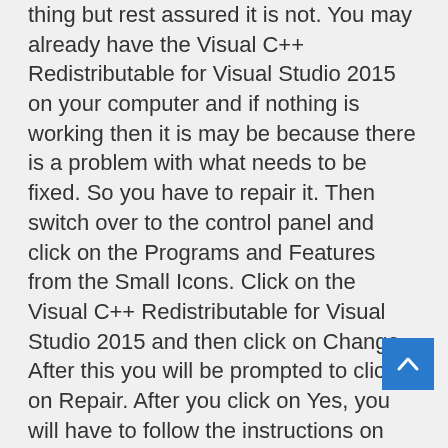thing but rest assured it is not. You may already have the Visual C++ Redistributable for Visual Studio 2015 on your computer and if nothing is working then it is may be because there is a problem with what needs to be fixed. So you have to repair it. Then switch over to the control panel and click on the Programs and Features from the Small Icons. Click on the Visual C++ Redistributable for Visual Studio 2015 and then click on Change. After this you will be prompted to click on Repair. After you click on Yes, you will have to follow the instructions on your computer screen to start the repair. After this, you have to find the program or file that has been giving you trouble and try to open it. If it is successful, then you have managed to fix the api-ms-win-crt-runtime-l1-1-0.dll issue yourself.
If none of the above methods work, then it is best take your api-ms-win-crt-runtime-l1-1-0.dll problem to a professional who will be able to fix it.